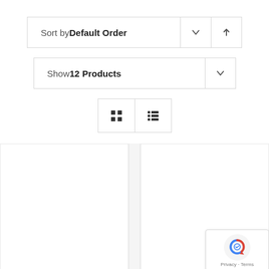Sort by Default Order
Show 12 Products
[Figure (screenshot): View toggle buttons: grid view and list view icons]
[Figure (screenshot): Two blank white product cards side by side with a reCAPTCHA badge in the bottom right corner showing Privacy and Terms links]